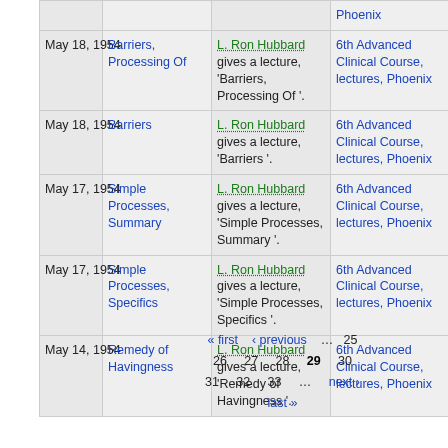| Date | Title | Description | Course |
| --- | --- | --- | --- |
| May 18, 1954 | Barriers, Processing Of | L. Ron Hubbard gives a lecture, 'Barriers, Processing Of '. | 6th Advanced Clinical Course, lectures, Phoenix |
| May 18, 1954 | Barriers | L. Ron Hubbard gives a lecture, 'Barriers '. | 6th Advanced Clinical Course, lectures, Phoenix |
| May 17, 1954 | Simple Processes, Summary | L. Ron Hubbard gives a lecture, 'Simple Processes, Summary '. | 6th Advanced Clinical Course, lectures, Phoenix |
| May 17, 1954 | Simple Processes, Specifics | L. Ron Hubbard gives a lecture, 'Simple Processes, Specifics '. | 6th Advanced Clinical Course, lectures, Phoenix |
| May 14, 1954 | Remedy of Havingness | L. Ron Hubbard gives a lecture, 'Remedy of Havingness '. | 6th Advanced Clinical Course, lectures, Phoenix |
« first ‹ previous … 25 26 27 28 29 30 31 32 33 … next › last »